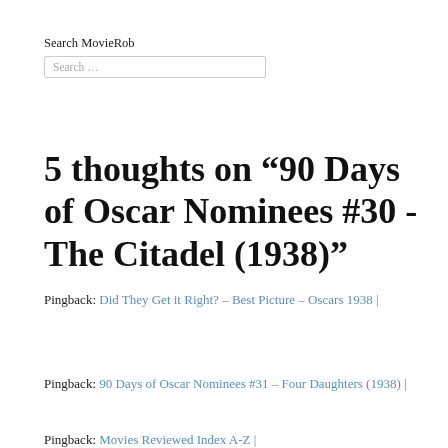Search MovieRob
Search …
5 thoughts on “90 Days of Oscar Nominees #30 - The Citadel (1938)”
Pingback: Did They Get it Right? – Best Picture – Oscars 1938 |
Pingback: 90 Days of Oscar Nominees #31 – Four Daughters (1938) |
Pingback: Movies Reviewed Index A-Z |